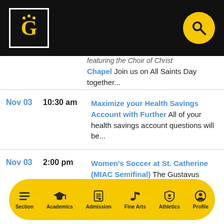[Figure (logo): Gustavus Adolphus College G logo in white on black background with crown symbols]
featuring the Choir of Christ Chapel Join us on All Saints Day together...
Nov 03  10:30 am  Maximize your Health Savings Account with Further All of your health savings account questions will be...
Nov 03  2:00 pm  Women's Soccer at St. Catherine (MIAC Semifinal) The Gustavus women's soccer team travels to St. Kate's...
Section  Academics  Admission  Fine Arts  Athletics  Profile